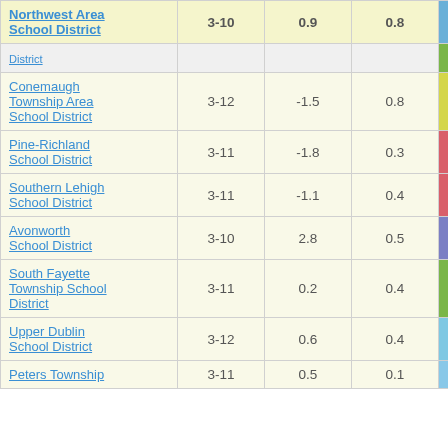| School District | Grades | Col3 | Col4 | Score |
| --- | --- | --- | --- | --- |
| Northwest Area School District | 3-10 | 0.9 | 0.8 | 1.12 |
| [District] |  |  |  |  |
| Conemaugh Township Area School District | 3-12 | -1.5 | 0.8 | -2.00 |
| Pine-Richland School District | 3-11 | -1.8 | 0.3 | -5.32 |
| Southern Lehigh School District | 3-11 | -1.1 | 0.4 | -2.36 |
| Avonworth School District | 3-10 | 2.8 | 0.5 | 5.25 |
| South Fayette Township School District | 3-11 | 0.2 | 0.4 | 0.46 |
| Upper Dublin School District | 3-12 | 0.6 | 0.4 | 1.43 |
| Peters Township | 3-11 | 0.5 | 0.1 |  |